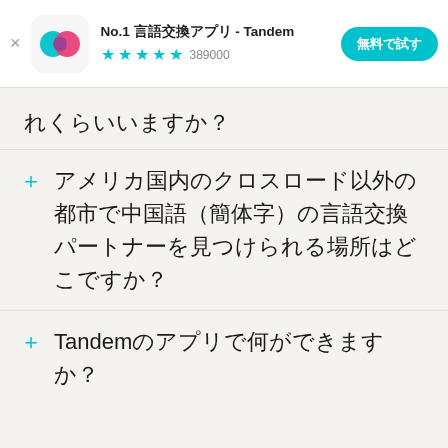[Figure (screenshot): App store banner for Tandem language exchange app showing logo, title 'No.1 言語交換アプリ - Tandem', star rating with 389000 reviews, and '無料で試す' (Try for Free) button]
れくらいいますか？
アメリカ国内のクロスロード以外の都市で中国語（簡体字）の言語交換パートナーを見つけられる場所はどこですか？
Tandemのアプリで何ができますか？